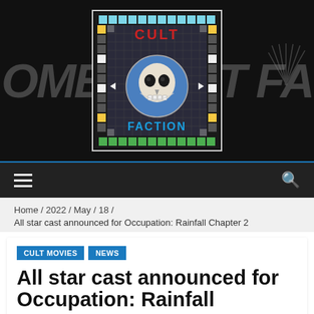[Figure (logo): Cult Faction logo: a board-game style square grid with a skull in the center circle, 'CULT' in red at the top and 'FACTION' in blue at the bottom, surrounded by colorful game board squares]
≡    🔍
Home / 2022 / May / 18 /
All star cast announced for Occupation: Rainfall Chapter 2
CULT MOVIES  NEWS
All star cast announced for Occupation: Rainfall